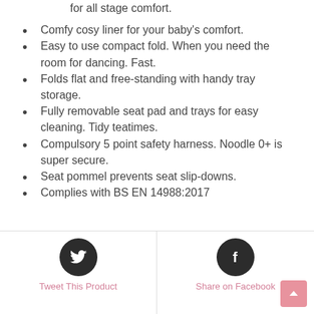for all stage comfort.
Comfy cosy liner for your baby's comfort.
Easy to use compact fold. When you need the room for dancing. Fast.
Folds flat and free-standing with handy tray storage.
Fully removable seat pad and trays for easy cleaning. Tidy teatimes.
Compulsory 5 point safety harness. Noodle 0+ is super secure.
Seat pommel prevents seat slip-downs.
Complies with BS EN 14988:2017
Tweet This Product | Share on Facebook